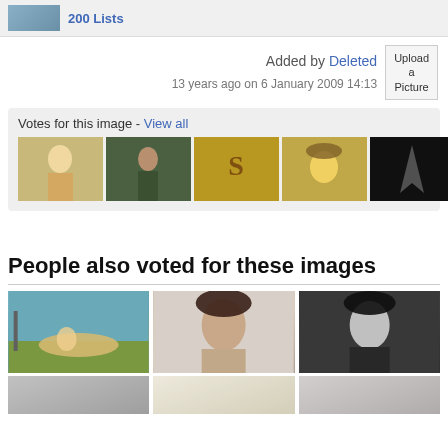[Figure (screenshot): Top bar with thumbnail image and blue link text '200 Lists']
Added by Deleted
13 years ago on 6 January 2009 14:13
[Figure (other): Upload a Picture button]
Votes for this image - View all
[Figure (screenshot): Row of 7 small thumbnail images showing votes for this image]
People also voted for these images
[Figure (photo): Grid of 3 photos: blonde woman reclining, dark-haired woman portrait, black-and-white portrait]
[Figure (photo): Partially visible row of 3 more photos at bottom]